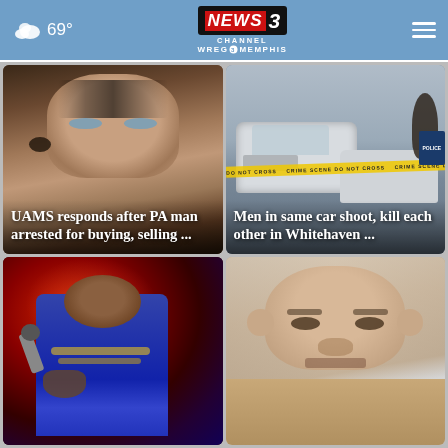69° NEWS CHANNEL 3 WREG MEMPHIS
[Figure (photo): Tattooed man mugshot with headline: UAMS responds after PA man arrested for buying, selling ...]
[Figure (photo): Crime scene with white cars and yellow police tape, headline: Men in same car shoot, kill each other in Whitehaven ...]
[Figure (photo): Black male rapper performing on stage with microphone, wearing purple and blue clothing with gold chains, red stage lights]
[Figure (photo): Bald light-skinned male mugshot against neutral background]